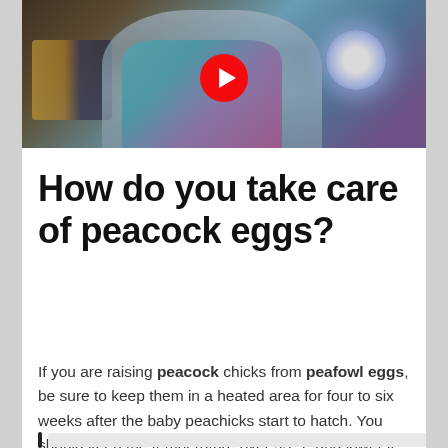[Figure (screenshot): YouTube video thumbnail showing a person in a tie-dye shirt holding a glowing light orb/candler with shelves in background, red YouTube play button overlay in center]
How do you take care of peacock eggs?
If you are raising peacock chicks from peafowl eggs, be sure to keep them in a heated area for four to six weeks after the baby peachicks start to hatch. You should keep the temperature over 95° F and lower it by about 5° F every week during the incubation period.